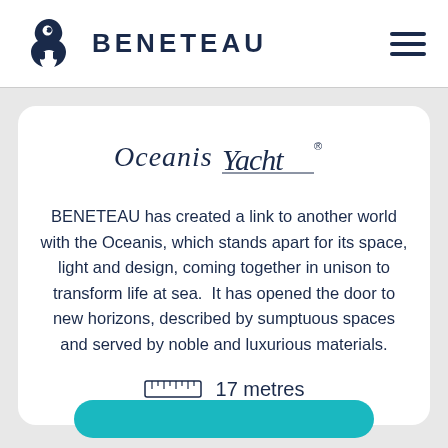BENETEAU
[Figure (logo): Oceanis Yacht cursive logo with registered trademark symbol]
BENETEAU has created a link to another world with the Oceanis, which stands apart for its space, light and design, coming together in unison to transform life at sea.  It has opened the door to new horizons, described by sumptuous spaces and served by noble and luxurious materials.
17 metres